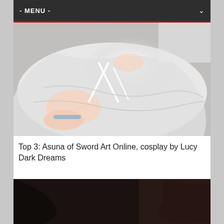- MENU -
[Figure (photo): Cosplay photo of Asuna from Sword Art Online, white outfit, viewed from above, close-up of lower body and feet with white ribbon/string details against a light background]
Top 3: Asuna of Sword Art Online, cosplay by Lucy Dark Dreams
[Figure (photo): Dark photo, partially visible cosplay image with warm light glow at bottom center, dark reddish-brown tones]